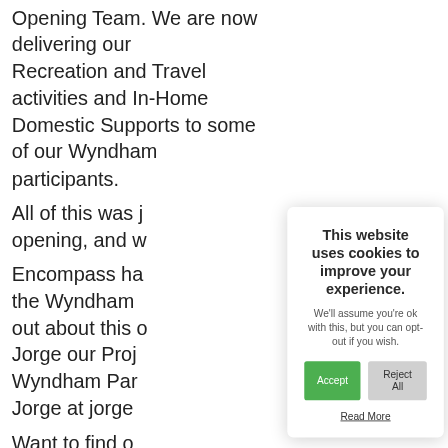Opening Team. We are now delivering our Recreation and Travel activities and In-Home Domestic Supports to some of our Wyndham participants.
All of this was j[ust months after opening, and w[e are proud]

Encompass ha[s been involved with] the Wyndham [area...] out about this [project, please contact] Jorge our Proj[ect Manager for] Wyndham Par[ticipants.]
Jorge at jorge[...]

Want to find o[ut more?]
Visit our EGF Di[sability Services] page or check [out our NDIS Services page.]
This website uses cookies to improve your experience.
We'll assume you're ok with this, but you can opt-out if you wish.
Accept | Reject All
Read More